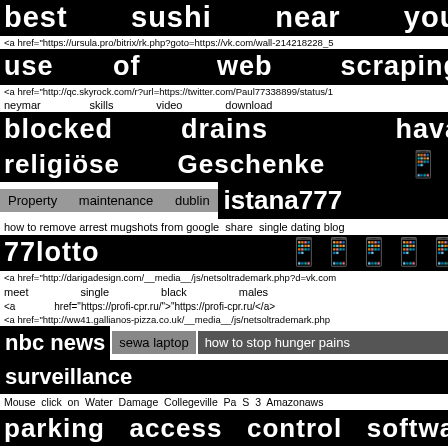best sushi near you
<a href="https://ursula.pro/bitrix/rk.php?goto=https://vk.com/wall-214218228_5
use of web scraping
<a href="http://qc.skyrock.com/r?url=https://twitter.com/Paul77338899/status/1
neymar skills video download
blocked drains havant
religiöse Geschenke 📱📱📱📱
Property maintenance dublin
istana777
how to remove arrest mugshots from google share single dating blog
77lotto 📱📱📱📱📱📱📱📱📱📱
<a href="http://darigadesign.com/__media__/js/netsoltrademark.php?d=vk.com
meet single black males
<a href="https://profi-cpr.ru/">"https://profi-cpr.ru/</a>
<a href="http://ww41.gallianos-pizza.co.uk/__media__/js/netsoltrademark.php
nbc news sewa laptop how to stop hunger pains surveillance
Mouse click on Water Damage Collegeville Pa S 3 Amazonaws
parking access control software
<a href="http://esellbuy.net/__media__/js/netsoltrademark.php?d=twitter.com9
Beautiful clothing
housing costs in Europe vs America as roma terza maglia
spot carpet cleaning buffalo ny